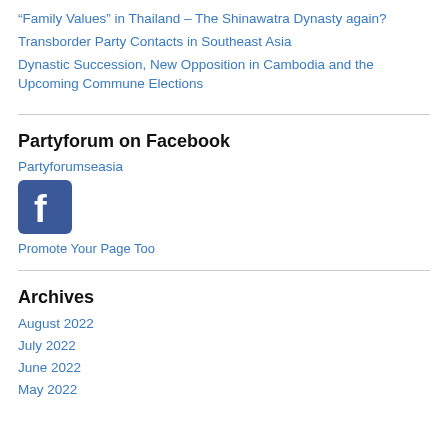“Family Values” in Thailand – The Shinawatra Dynasty again?
Transborder Party Contacts in Southeast Asia
Dynastic Succession, New Opposition in Cambodia and the Upcoming Commune Elections
Partyforum on Facebook
Partyforumseasia
[Figure (logo): Facebook logo icon, blue square with white 'f' letter]
Promote Your Page Too
Archives
August 2022
July 2022
June 2022
May 2022